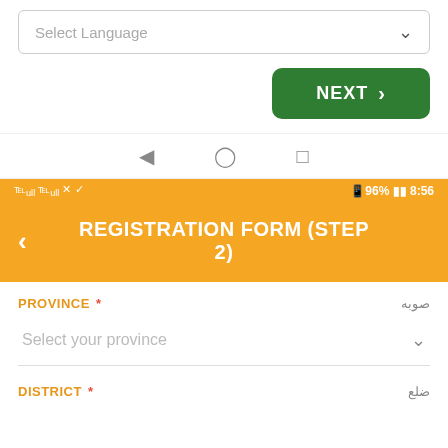[Figure (screenshot): Mobile app screenshot showing a registration form step 2 with language selector at top, NEXT button, Android navigation bar, orange status bar with signal/battery indicators showing 96% and 8:56, orange app header with back arrow and title REGISTRATION FORM (STEP 2), Province field with Arabic label and dropdown, and District field with Arabic label.]